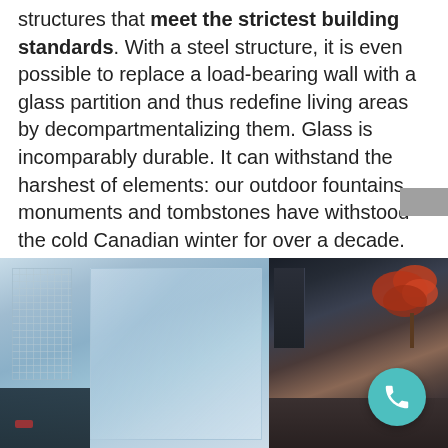structures that meet the strictest building standards. With a steel structure, it is even possible to replace a load-bearing wall with a glass partition and thus redefine living areas by decompartmentalizing them. Glass is incomparably durable. It can withstand the harshest of elements: our outdoor fountains, monuments and tombstones have withstood the cold Canadian winter for over a decade.
[Figure (photo): Two outdoor photos side by side: left shows a large frosted glass panel installed outdoors at dusk/night with a wire mesh fence on the left and dark background; right shows an outdoor patio or garden area at night with an illuminated red Japanese maple tree and dark architectural elements.]